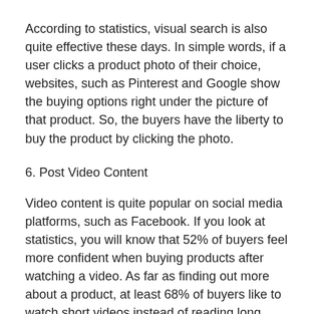According to statistics, visual search is also quite effective these days. In simple words, if a user clicks a product photo of their choice, websites, such as Pinterest and Google show the buying options right under the picture of that product. So, the buyers have the liberty to buy the product by clicking the photo.
6. Post Video Content
Video content is quite popular on social media platforms, such as Facebook. If you look at statistics, you will know that 52% of buyers feel more confident when buying products after watching a video. As far as finding out more about a product, at least 68% of buyers like to watch short videos instead of reading long articles, manuals or infographics.